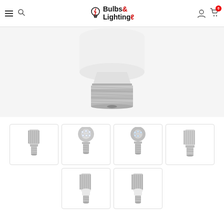Bulbs & Lighting — navigation header with logo, search, account, and cart (0 items)
[Figure (photo): Close-up of an LED corn bulb's base and lower body — white frosted dome top, metal heatsink fins (grey), and a silver E26/E39 screw base, on white background]
[Figure (photo): Grid of 6 LED corn bulb product thumbnails: top row shows 4 bulbs from different angles; bottom row shows 2 bulbs. All are LED corn-style bulbs with finned aluminium heatsinks and screw bases.]